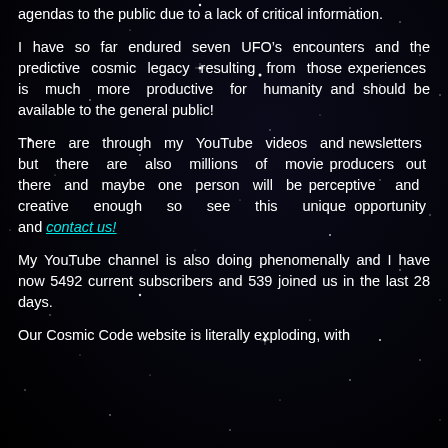agendas to the public due to a lack of critical information.
I have so far endured seven UFO’s encounters and the predictive cosmic legacy resulting from those experiences is much more productive for humanity and should be available to the general public!
There are through my YouTube videos and newsletters but there are also millions of movie producers out there and maybe one person will be perceptive and creative enough so see this unique opportunity and contact us!
My YouTube channel is also doing phenomenally and I have now 5492 current subscribers and 539 joined us in the last 28 days.
Our Cosmic Code website is literally exploding, with